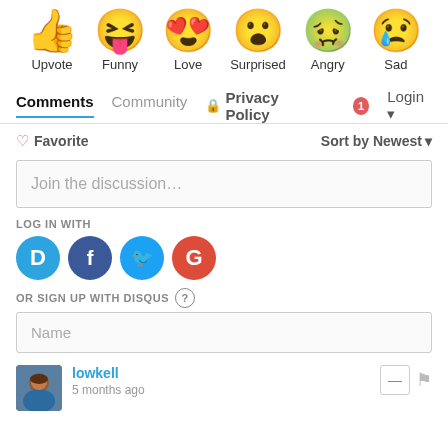[Figure (illustration): Six emoji reaction icons in a row: thumbs up (Upvote), laughing face with tongue (Funny), heart-eyes face (Love), surprised face (Surprised), angry/sick face (Angry), sad face with tear (Sad)]
Upvote   Funny   Love   Surprised   Angry   Sad
Comments   Community   🔒 Privacy Policy   1 Login
♡ Favorite   Sort by Newest
Join the discussion…
LOG IN WITH
[Figure (logo): Social login icons: Disqus (D, blue), Facebook (f, dark blue), Twitter (bird, light blue), Google (G, red)]
OR SIGN UP WITH DISQUS ?
Name
lowkell
5 months ago